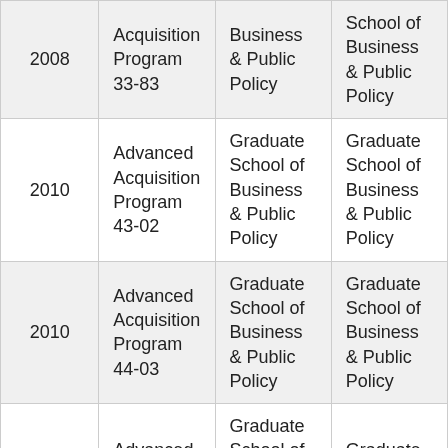| 2008 | Acquisition Program 33-83 | Business & Public Policy | School of Business & Public Policy |
| 2010 | Advanced Acquisition Program 43-02 | Graduate School of Business & Public Policy | Graduate School of Business & Public Policy |
| 2010 | Advanced Acquisition Program 44-03 | Graduate School of Business & Public Policy | Graduate School of Business & Public Policy |
| 2009 | Advanced Acquisition | Graduate School of Business & | Graduate School of |